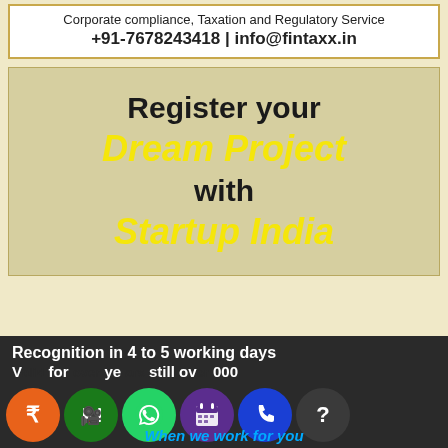Corporate compliance, Taxation and Regulatory Service
+91-7678243418 | info@fintaxx.in
Register your Dream Project with Startup India
Recognition in 4 to 5 working days
Valid for over 5 still over 000
[Figure (infographic): Row of six colored icon circles: orange rupee sign, dark green video camera, green WhatsApp logo, purple calendar, blue phone, dark grey question mark]
When we work for you